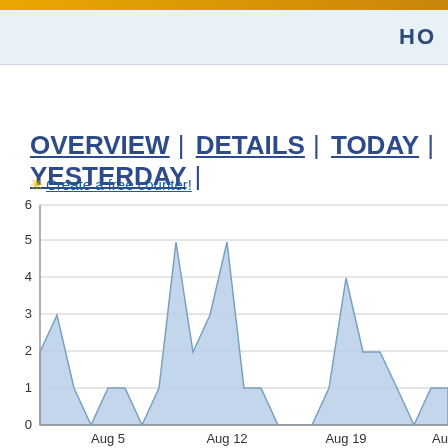HO
OVERVIEW | DETAILS | TODAY | YESTERDAY |
✳ Create a free counter!
[Figure (area-chart): Daily visits area chart]